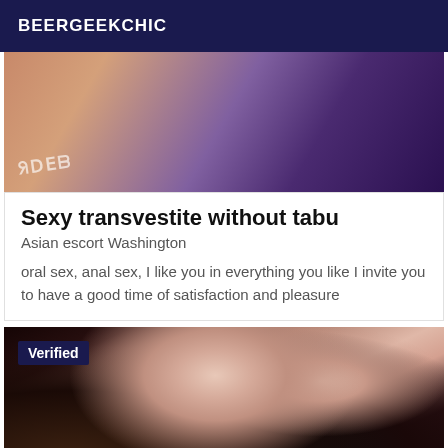BEERGEEKCHIC
[Figure (photo): Cropped photo showing person in shiny purple/blue clothing, partially mirrored watermark text visible]
Sexy transvestite without tabu
Asian escort Washington
oral sex, anal sex, I like you in everything you like I invite you to have a good time of satisfaction and pleasure
[Figure (photo): Photo of a woman with dark hair, pink lips, gold necklace, wearing black lingerie top. 'Verified' badge in upper left corner.]